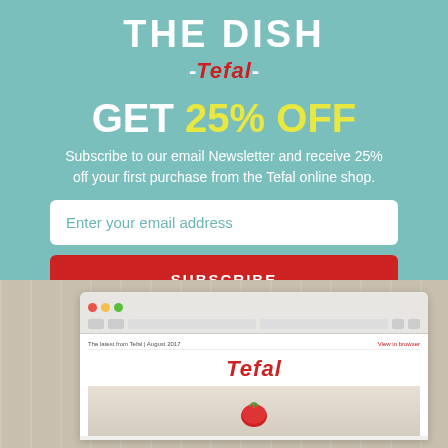THE DISH
-Tefal-
GET 25% OFF
Subscribe to our email Newsletter and receive 25% off your first purchase from the Tefal online shop.
Enter your email address
SUBSCRIBE
[Figure (screenshot): Browser window screenshot showing Tefal newsletter email with Tefal logo and food image with tomato]